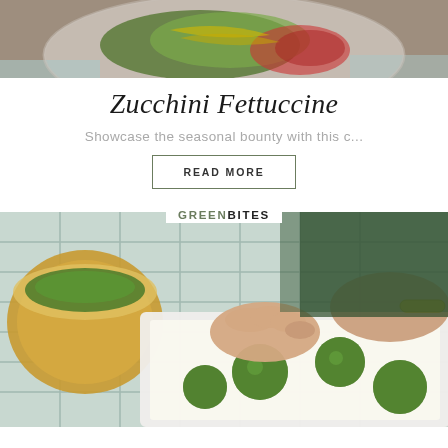[Figure (photo): Top portion of a colorful salad dish on a plate with greens and red elements on a wooden surface with a blue cloth]
Zucchini Fettuccine
Showcase the seasonal bounty with this c...
READ MORE
GREENBITES
[Figure (photo): Hands forming green herb-coated balls on a white parchment-lined tray, with a yellow ceramic bowl of green mixture in the background on a blue checkered cloth]